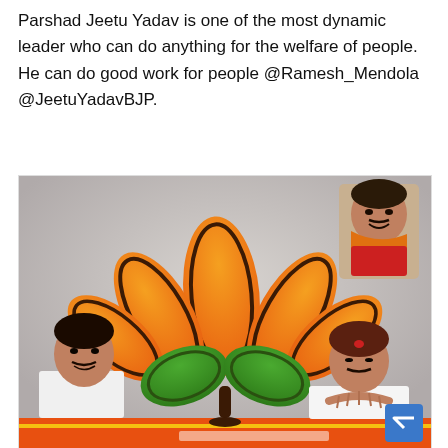Parshad Jeetu Yadav is one of the most dynamic leader who can do anything for the welfare of people. He can do good work for people @Ramesh_Mendola @JeetuYadavBJP.
[Figure (photo): BJP political campaign poster featuring the BJP lotus flower symbol in orange and green, with photos of three politicians. A man in a white shirt on the lower left, a man with folded hands on the lower right, and a smiling man with an orange scarf in the upper right corner. Orange and yellow banner at the bottom with Bharatiya Janata Party (BJP) branding.]